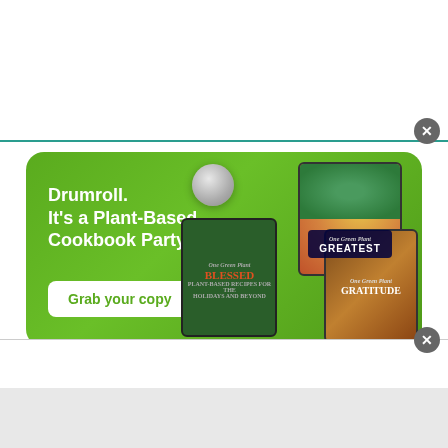[Figure (illustration): Top white bar with close button (X) — advertisement placeholder area at top of page]
[Figure (illustration): Green advertisement banner for plant-based cookbooks. Text: 'Drumroll. It's a Plant-Based Cookbook Party!' with a 'Grab your copy' button. Shows three cookbooks: GREATEST, BLESSED, GRATITUDE with a disco ball.]
These tempeh wraps are perfect for a quick lunch or dinner anytime. Tempeh is marinated
[Figure (illustration): Bottom white/grey overlay bar with close button (X) — second advertisement popup area]